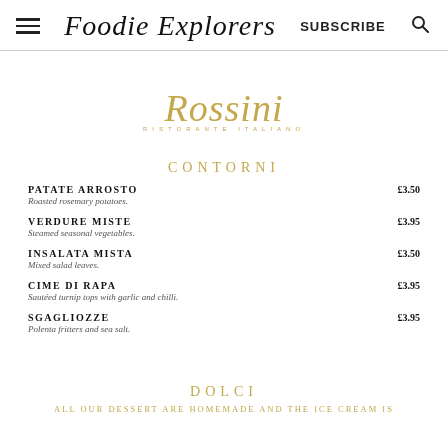Foodie Explorers | SUBSCRIBE
[Figure (logo): Rossini Ristorante Italiano script logo in gold]
CONTORNI
PATATE ARROSTO - Roasted rosemary potatoes. £3.50
VERDURE MISTE - Steamed seasonal vegetables. £3.95
INSALATA MISTA - Mixed salad leaves. £3.50
CIME DI RAPA - Sautéed turnip tops with garlic and chilli. £3.95
SGAGLIOZZE - Polenta fritters and sea salt. £3.95
DOLCI
ALL OUR DESSERT ARE HOMEMADE AND THE ICE CREAM IS